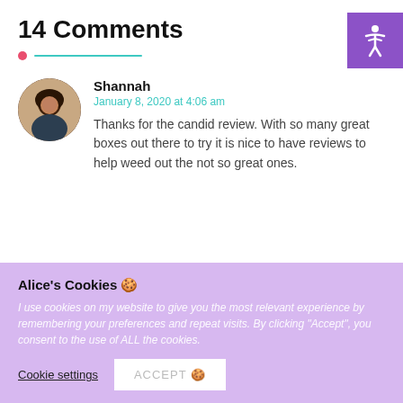14 Comments
Shannah
January 8, 2020 at 4:06 am
Thanks for the candid review. With so many great boxes out there to try it is nice to have reviews to help weed out the not so great ones.
Alice's Cookies 🍪
I use cookies on my website to give you the most relevant experience by remembering your preferences and repeat visits. By clicking "Accept", you consent to the use of ALL the cookies.
Cookie settings   ACCEPT 🍪